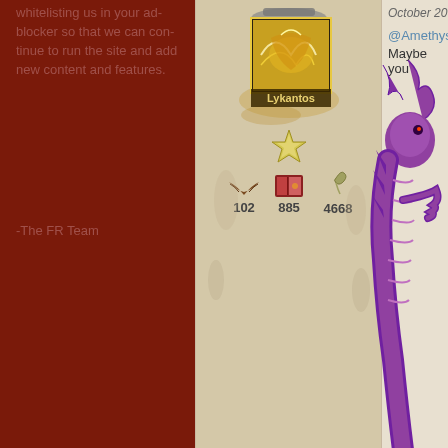Please consider whitelisting us in your ad-blocker so that we can continue to run the site and add new content and features.
-The FR Team
[Figure (screenshot): Game interface showing a dragon character named Lykantos with an hourglass/potion item and stats: 102 (bat wings icon), 885 (book icon), 4668 (snake/scroll icon), and a star icon]
October 20
@Amethyst
Maybe you'
[Figure (illustration): Purple dragon character illustration on the right side of the page]